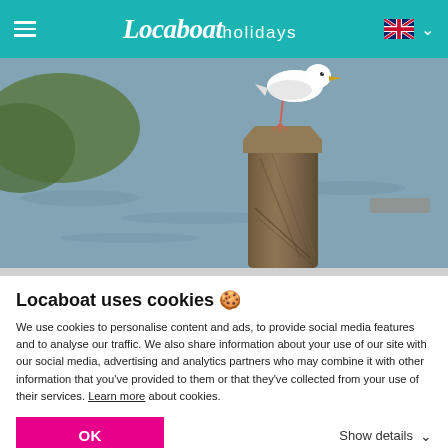Locaboat holidays — navigation header with hamburger menu and UK language flag
[Figure (photo): A seagull standing on top of a weathered wooden dock post, with water in the background]
Locaboat uses cookies 🍪
We use cookies to personalise content and ads, to provide social media features and to analyse our traffic. We also share information about your use of our site with our social media, advertising and analytics partners who may combine it with other information that you've provided to them or that they've collected from your use of their services. Learn more about cookies.